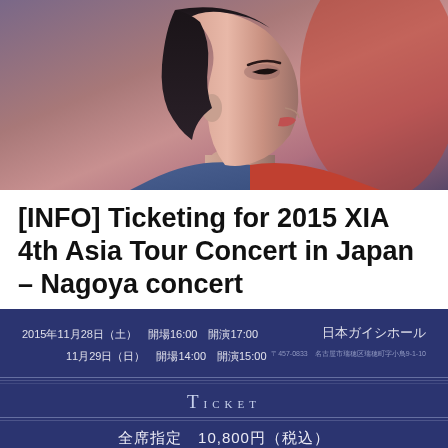[Figure (photo): Close-up profile photo of a person's face/side profile against a purple-pink background]
[INFO] Ticketing for 2015 XIA 4th Asia Tour Concert in Japan – Nagoya concert
[Figure (infographic): Dark navy blue concert ticket graphic showing dates, times, venue (日本ガイシホール), TICKET label, price 全席指定 10,800円（税込）, and small note text]
Follow ...